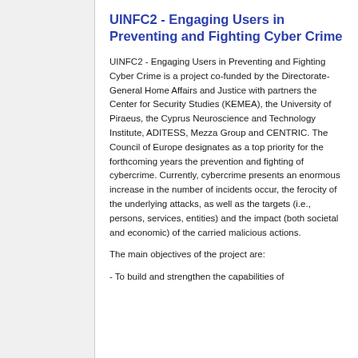UINFC2 - Engaging Users in Preventing and Fighting Cyber Crime
UINFC2 - Engaging Users in Preventing and Fighting Cyber Crime is a project co-funded by the Directorate-General Home Affairs and Justice with partners the Center for Security Studies (KEMEA), the University of Piraeus, the Cyprus Neuroscience and Technology Institute, ADITESS, Mezza Group and CENTRIC. The Council of Europe designates as a top priority for the forthcoming years the prevention and fighting of cybercrime. Currently, cybercrime presents an enormous increase in the number of incidents occur, the ferocity of the underlying attacks, as well as the targets (i.e., persons, services, entities) and the impact (both societal and economic) of the carried malicious actions.
The main objectives of the project are:
- To build and strengthen the capabilities of